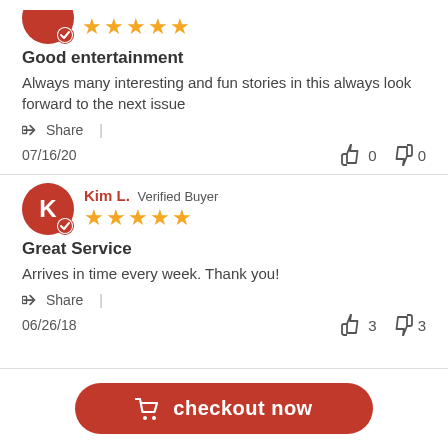[Figure (other): Red avatar circle with checkmark badge and 5 gold stars rating]
Good entertainment
Always many interesting and fun stories in this always look forward to the next issue
Share |
07/16/20   👍 0   👎 0
[Figure (other): Red avatar circle with letter K and checkmark badge, 5 gold stars rating, reviewer name Kim L. Verified Buyer]
Great Service
Arrives in time every week. Thank you!
Share |
06/26/18   👍 3   👎 3
checkout now